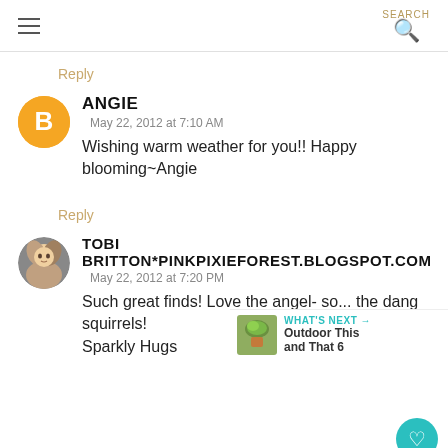SEARCH
Reply
ANGIE
May 22, 2012 at 7:10 AM
Wishing warm weather for you!! Happy blooming~Angie
Reply
TOBI BRITTON*PINKPIXIEFOREST.BLOGSPOT.COM
May 22, 2012 at 7:20 PM
Such great finds! Love the angel- so... the dang squirrels!
Sparkly Hugs
WHAT'S NEXT → Outdoor This and That 6